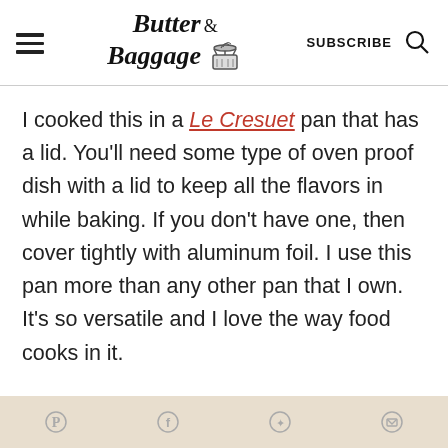Butter & Baggage — SUBSCRIBE
I cooked this in a Le Cresuet pan that has a lid.  You'll  need some type of oven proof dish with a lid to keep all the flavors in while baking.  If you don't have one, then cover tightly with aluminum foil. I use this pan more than any other pan that I own.  It's so versatile and I love the way food cooks in it.
Social share icons: Pinterest, Facebook, Twitter, Email